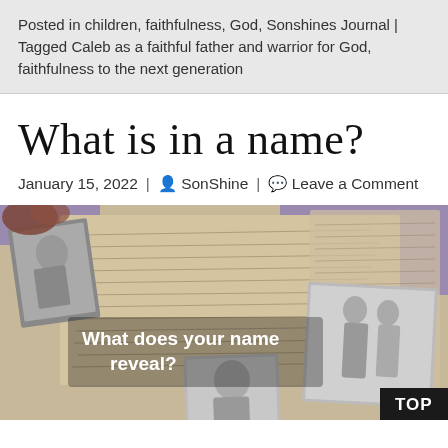Posted in children, faithfulness, God, Sonshines Journal | Tagged Caleb as a faithful father and warrior for God, faithfulness to the next generation
What is in a name?
January 15, 2022 | SonShine | Leave a Comment
[Figure (photo): Photograph of old handwritten letters with vintage black and white photos laid on top. Text overlay reads 'What does your name reveal?' and a black 'TOP' button in the bottom right corner.]